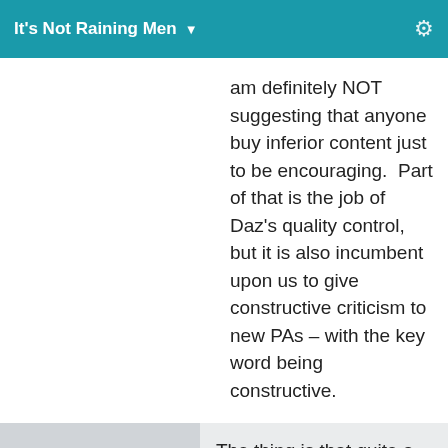It's Not Raining Men ▼
am definitely NOT suggesting that anyone buy inferior content just to be encouraging.  Part of that is the job of Daz's quality control, but it is also incumbent upon us to give constructive criticism to new PAs – with the key word being constructive.
The thing is that quite a few of those outfits that are posted can already be done with a texture change alone. That is the issue with quite a few of
GhostofMasha...